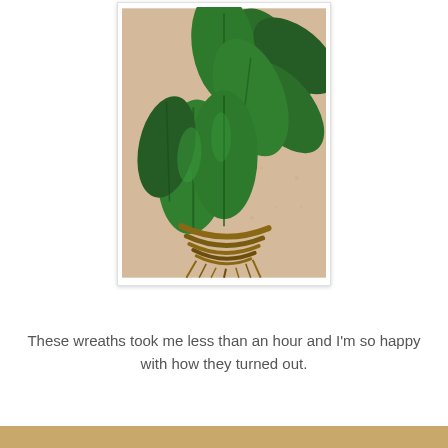[Figure (photo): A bundle of large glossy dark green leaves tied together at the stems with natural twine/raffia, arranged in a fan or wreath shape, lying on a beige textured surface.]
These wreaths took me less than an hour and I'm so happy with how they turned out.